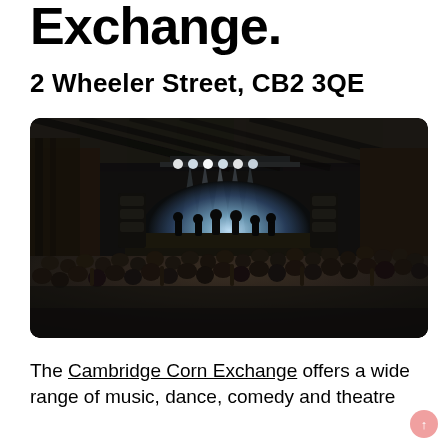Exchange.
2 Wheeler Street, CB2 3QE
[Figure (photo): Interior of Cambridge Corn Exchange concert venue showing a packed crowd in front of a brightly lit stage with performers and dramatic stage lighting in a historic brick building.]
The Cambridge Corn Exchange offers a wide range of music, dance, comedy and theatre